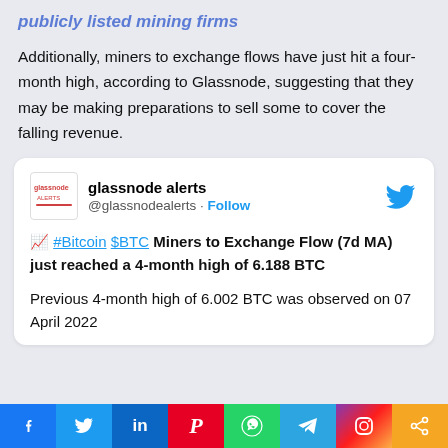publicly listed mining firms
Additionally, miners to exchange flows have just hit a four-month high, according to Glassnode, suggesting that they may be making preparations to sell some to cover the falling revenue.
[Figure (screenshot): Embedded tweet from @glassnodealerts on Twitter. Header shows Glassnode logo and account name 'glassnode alerts @glassnodealerts · Follow'. Tweet content: '📈 #Bitcoin $BTC Miners to Exchange Flow (7d MA) just reached a 4-month high of 6.188 BTC

Previous 4-month high of 6.002 BTC was observed on 07 April 2022']
f  Twitter  in  P  WhatsApp  Telegram  Instagram  Share